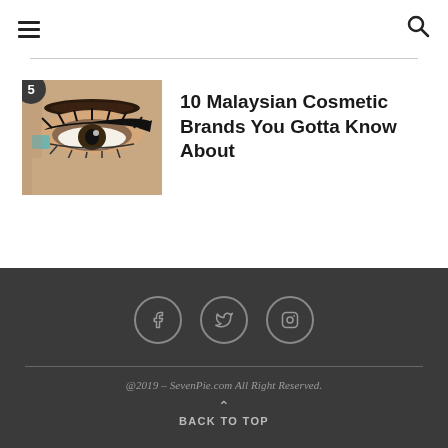Menu | Search
[Figure (photo): Close-up photo of a woman's eye with dramatic eye makeup including cat-eye eyeliner and long lashes, with number badge '5' overlay]
10 Malaysian Cosmetic Brands You Gotta Know About
f t instagram | @2019 – SevenPie.com All Right Reserved. | BACK TO TOP